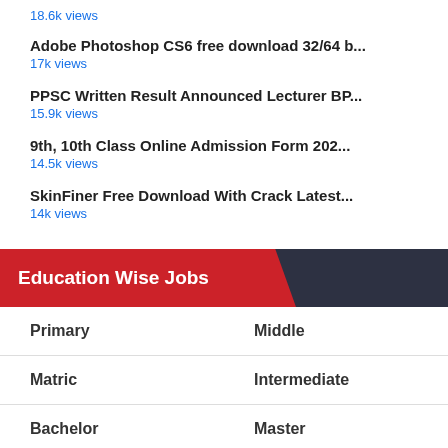18.6k views
Adobe Photoshop CS6 free download 32/64 b...
17k views
PPSC Written Result Announced Lecturer BP...
15.9k views
9th, 10th Class Online Admission Form 202...
14.5k views
SkinFiner Free Download With Crack Latest...
14k views
Education Wise Jobs
|  |  |
| --- | --- |
| Primary | Middle |
| Matric | Intermediate |
| Bachelor | Master |
| Mobil | PhD |